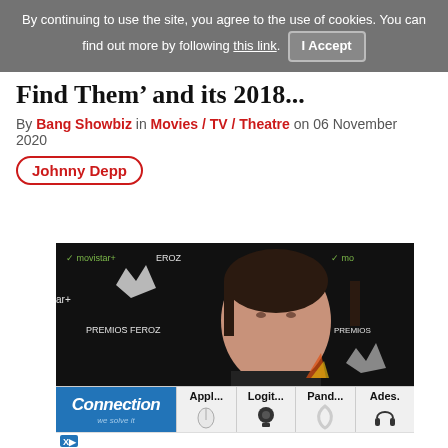By continuing to use the site, you agree to the use of cookies. You can find out more by following this link. I Accept
Find Them’ and its 2018...
By Bang Showbiz in Movies / TV / Theatre on 06 November 2020
Johnny Depp
[Figure (photo): Woman at Premios Feroz event with movistar+ backdrop logos]
[Figure (infographic): Advertisement strip showing Connection brand and products: Appl..., Logit..., Pand..., Ades...]